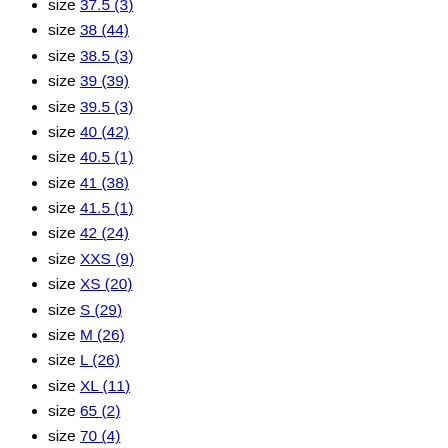size 37.5 (3)
size 38 (44)
size 38.5 (3)
size 39 (39)
size 39.5 (3)
size 40 (42)
size 40.5 (1)
size 41 (38)
size 41.5 (1)
size 42 (24)
size XXS (9)
size XS (20)
size S (29)
size M (26)
size L (26)
size XL (11)
size 65 (2)
size 70 (4)
size 75 (4)
size 80 (4)
size 85 (4)
size 90 (3)
size 95 (2)
size 100 (2)
size 5 (6)